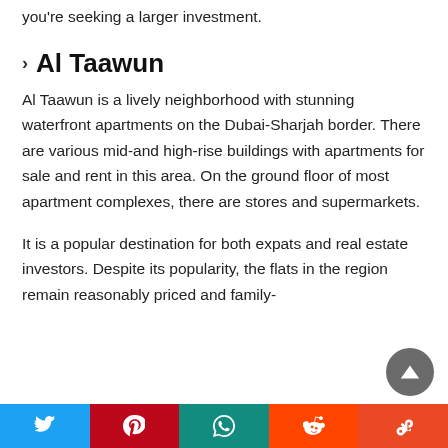you're seeking a larger investment.
Al Taawun
Al Taawun is a lively neighborhood with stunning waterfront apartments on the Dubai-Sharjah border. There are various mid-and high-rise buildings with apartments for sale and rent in this area. On the ground floor of most apartment complexes, there are stores and supermarkets.
It is a popular destination for both expats and real estate investors. Despite its popularity, the flats in the region remain reasonably priced and family-
Social share bar: Twitter, Pinterest, WhatsApp, Reddit, StumbleUpon